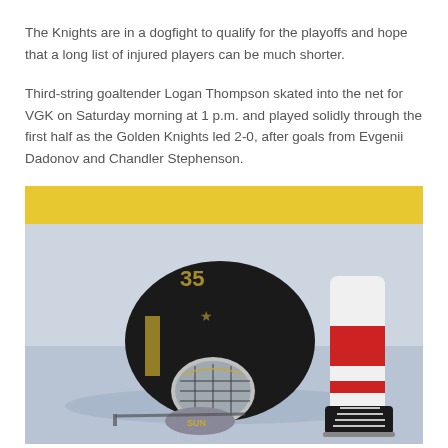The Knights are in a dogfight to qualify for the playoffs and hope that a long list of injured players can be much shorter.
Third-string goaltender Logan Thompson skated into the net for VGK on Saturday morning at 1 p.m. and played solidly through the first half as the Golden Knights led 2-0, after goals from Evgenii Dadonov and Chandler Stephenson.
[Figure (photo): A hockey goaltender in a Vegas Golden Knights black and gold jersey and decorated mask is crouched down on the ice. Another player in white and red leg pads stands nearby. The background shows a yellow dasher board.]